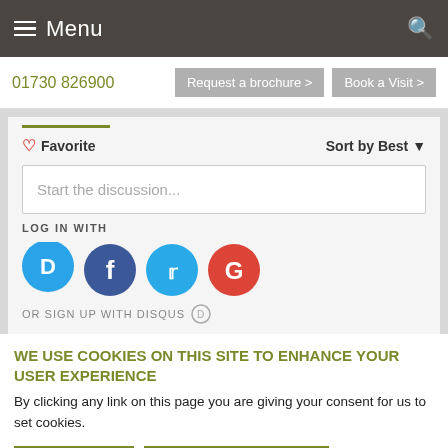Menu
01730 826900  Request a brochure >  Book a Visit >
Favorite  Sort by Best
Start the discussion...
LOG IN WITH
[Figure (screenshot): Social login icons: Disqus (blue), Facebook (dark blue), Twitter (light blue), Google (red)]
OR SIGN UP WITH DISQUS
WE USE COOKIES ON THIS SITE TO ENHANCE YOUR USER EXPERIENCE
By clicking any link on this page you are giving your consent for us to set cookies.
OK, I agree >  No, give me more info >